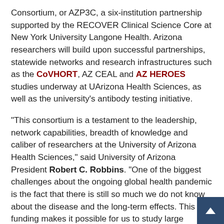Consortium, or AZP3C, a six-institution partnership supported by the RECOVER Clinical Science Core at New York University Langone Health. Arizona researchers will build upon successful partnerships, statewide networks and research infrastructures such as the CoVHORT, AZ CEAL and AZ HEROES studies underway at UArizona Health Sciences, as well as the university's antibody testing initiative.
"This consortium is a testament to the leadership, network capabilities, breadth of knowledge and caliber of researchers at the University of Arizona Health Sciences," said University of Arizona President Robert C. Robbins. "One of the biggest challenges about the ongoing global health pandemic is the fact that there is still so much we do not know about the disease and the long-term effects. This funding makes it possible for us to study large segments of the population affected by prolonged symptoms of COVID-19, which will hopefully lead to increasing our understanding of conditions that lead to long COVID and ultimately, help us find solutions."